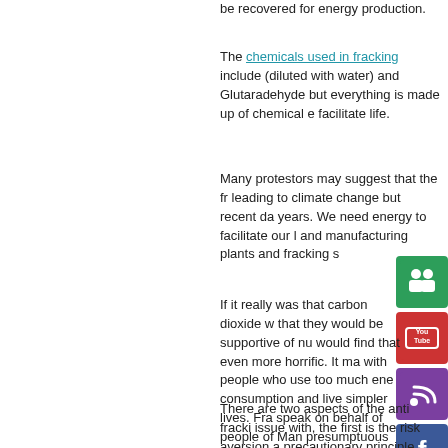be recovered for energy production.
The chemicals used in fracking include (diluted with water) and Glutaradehyde but everything is made up of chemical elements that facilitate life.
Many protestors may suggest that the fracking is leading to climate change but recent data shows years. We need energy to facilitate our lives, homes and manufacturing plants and fracking...
[Figure (illustration): Social media share/follow icons: green people icon, YouTube icon, purple RSS/podcast icon, Facebook icon]
If it really was that carbon dioxide was the issue, that they would be supportive of nuclear... would find that even more horrifying. It may be with people who use too much energy, reduce consumption and live simpler lives. Fracking... speak on behalf of people of Manchester... presumptuous as I am not aware of any... an opinion by this group or who has ele...
There are two aspects of the anti fracking issue with, the first is the risk aversion and precautionary principle, and the second...